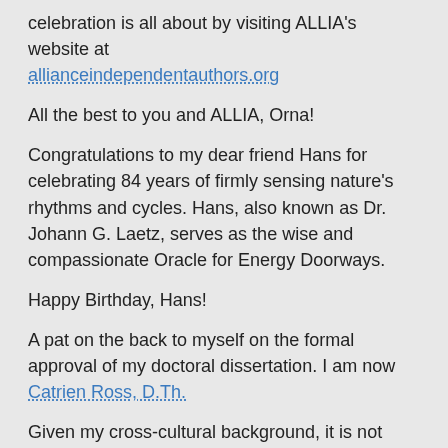celebration is all about by visiting ALLIA's website at allianceindependentauthors.org
All the best to you and ALLIA, Orna!
Congratulations to my dear friend Hans for celebrating 84 years of firmly sensing nature's rhythms and cycles. Hans, also known as Dr. Johann G. Laetz, serves as the wise and compassionate Oracle for Energy Doorways.
Happy Birthday, Hans!
A pat on the back to myself on the formal approval of my doctoral dissertation. I am now Catrien Ross, D.Th.
Given my cross-cultural background, it is not surprising that my spiritual perspective is broad and deep, apart from any organized religion or creed.